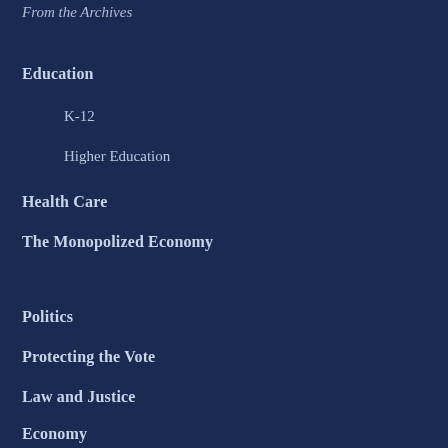From the Archives
Education
K-12
Higher Education
Health Care
The Monopolized Economy
Politics
Protecting the Vote
Law and Justice
Economy